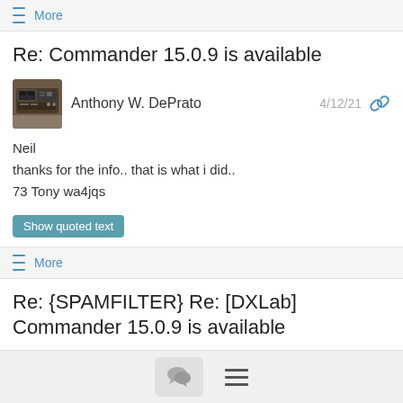≡ More
Re: Commander 15.0.9 is available
Anthony W. DePrato  4/12/21
Neil
thanks for the info.. that is what i did..
73 Tony wa4jqs
Show quoted text
≡ More
Re: {SPAMFILTER} Re: [DXLab] Commander 15.0.9 is available
Anthony W. DePrato  4/12/21